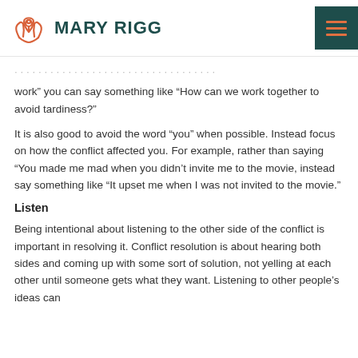MARY RIGG
work” you can say something like “How can we work together to avoid tardiness?”
It is also good to avoid the word “you” when possible. Instead focus on how the conflict affected you. For example, rather than saying “You made me mad when you didn’t invite me to the movie, instead say something like “It upset me when I was not invited to the movie.”
Listen
Being intentional about listening to the other side of the conflict is important in resolving it. Conflict resolution is about hearing both sides and coming up with some sort of solution, not yelling at each other until someone gets what they want. Listening to other people’s ideas can